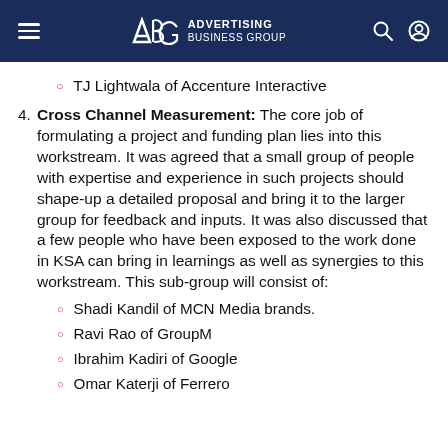ABG Advertising Business Group
TJ Lightwala of Accenture Interactive
4. Cross Channel Measurement: The core job of formulating a project and funding plan lies into this workstream. It was agreed that a small group of people with expertise and experience in such projects should shape-up a detailed proposal and bring it to the larger group for feedback and inputs. It was also discussed that a few people who have been exposed to the work done in KSA can bring in learnings as well as synergies to this workstream. This sub-group will consist of:
Shadi Kandil of MCN Media brands.
Ravi Rao of GroupM
Ibrahim Kadiri of Google
Omar Katerji of Ferrero